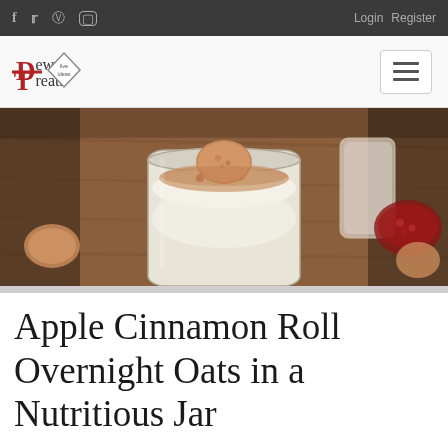f  twitter  pinterest  instagram    Login  Register
[Figure (logo): Dew Treats logo with red D and T letters, diamond badge shape with 'live ideas' text, and hamburger menu button]
[Figure (photo): Overhead photo of overnight oats in a glass jar topped with crumbled cookies and cinnamon, on a wooden table with cookies and a glass of milk in the background]
Apple Cinnamon Roll Overnight Oats in a Nutritious Jar